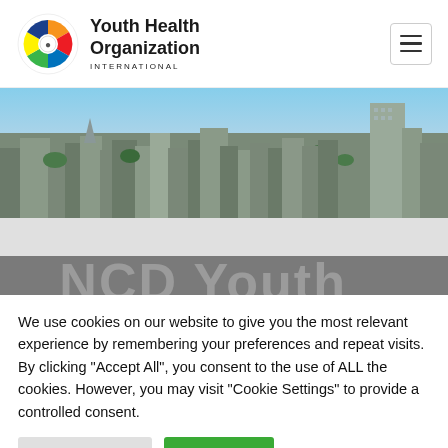[Figure (logo): Youth Health Organization International logo — circular puzzle-piece icon in orange, red, blue, green, yellow; beside bold text 'Youth Health Organization' with 'INTERNATIONAL' in small caps below]
[Figure (photo): Aerial cityscape photograph showing dense urban area with residential buildings, trees, and a tall tower block under clear sky]
We use cookies on our website to give you the most relevant experience by remembering your preferences and repeat visits. By clicking "Accept All", you consent to the use of ALL the cookies. However, you may visit "Cookie Settings" to provide a controlled consent.
Cookie Settings
Accept All